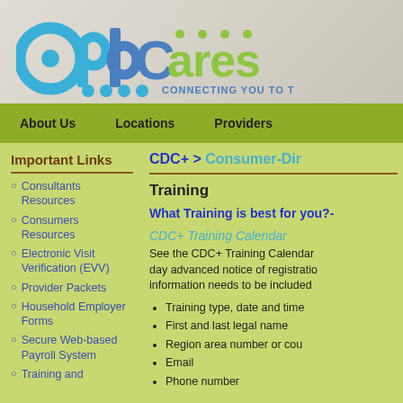[Figure (logo): APD Cares logo with text 'CONNECTING YOU TO THE COMMUNITY']
About Us   Locations   Providers
CDC+ > Consumer-Dir
Important Links
Consultants Resources
Consumers Resources
Electronic Visit Verification (EVV)
Provider Packets
Household Employer Forms
Secure Web-based Payroll System
Training and
Training
What Training is best for you?-
CDC+ Training Calendar
See the CDC+ Training Calendar day advanced notice of registration information needs to be included
Training type, date and time
First and last legal name
Region area number or cou
Email
Phone number